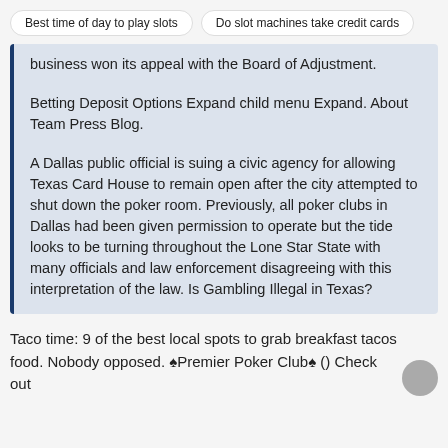Best time of day to play slots   Do slot machines take credit cards
business won its appeal with the Board of Adjustment.
Betting Deposit Options Expand child menu Expand. About Team Press Blog.
A Dallas public official is suing a civic agency for allowing Texas Card House to remain open after the city attempted to shut down the poker room. Previously, all poker clubs in Dallas had been given permission to operate but the tide looks to be turning throughout the Lone Star State with many officials and law enforcement disagreeing with this interpretation of the law. Is Gambling Illegal in Texas?
Taco time: 9 of the best local spots to grab breakfast tacos food. Nobody opposed. ♠Premier Poker Club♠ () Check out